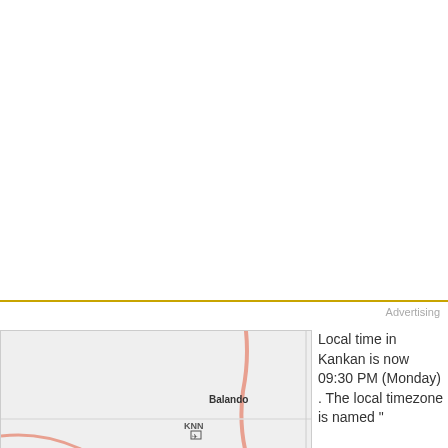[Figure (map): Street map showing Kankan area with zoom controls (+/-), showing roads, Balando label, and KNN airport marker]
Local time in Kankan is now 09:30 PM (Monday) . The local timezone is named "